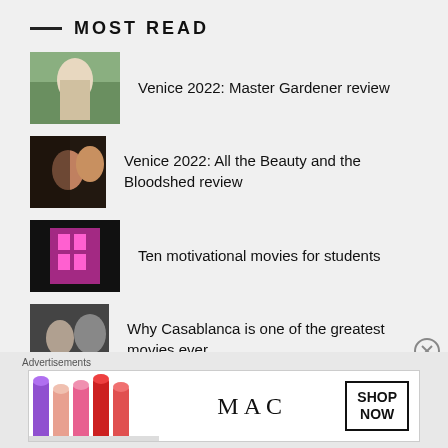MOST READ
Venice 2022: Master Gardener review
Venice 2022: All the Beauty and the Bloodshed review
Ten motivational movies for students
Why Casablanca is one of the greatest movies ever
Venice 2022: White Noise review
Film Review: The Workshop
[Figure (other): MAC cosmetics advertisement banner with lipsticks showing 'SHOP NOW']
Advertisements